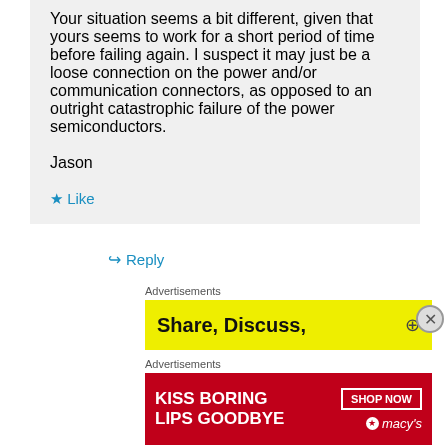Your situation seems a bit different, given that yours seems to work for a short period of time before failing again. I suspect it may just be a loose connection on the power and/or communication connectors, as opposed to an outright catastrophic failure of the power semiconductors.
Jason
★ Like
↪ Reply
Advertisements
[Figure (other): Yellow advertisement banner with bold text 'Share, Discuss,' and a circular icon on the right]
Advertisements
[Figure (other): Macy's red advertisement banner with woman's face, text 'KISS BORING LIPS GOODBYE', SHOP NOW button, and Macy's star logo]